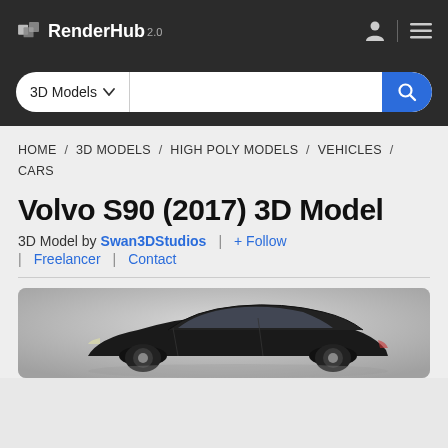RenderHub 2.0
3D Models
HOME / 3D MODELS / HIGH POLY MODELS / VEHICLES / CARS
Volvo S90 (2017) 3D Model
3D Model by Swan3DStudios | + Follow | Freelancer | Contact
[Figure (photo): 3D render of a dark Volvo S90 2017 car on a grey gradient background]